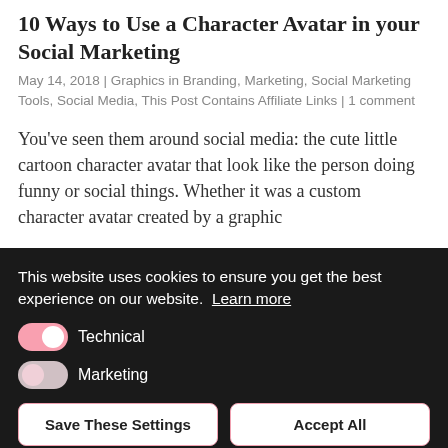10 Ways to Use a Character Avatar in your Social Marketing
May 14, 2018 | Graphics in Branding, Marketing, Social Marketing Tools, Social Media, This Post Contains Affiliate Links | 1 comment
You’ve seen them around social media: the cute little cartoon character avatar that look like the person doing funny or social things. Whether it was a custom character avatar created by a graphic
This website uses cookies to ensure you get the best experience on our website. Learn more
Technical
Marketing
Save These Settings    Accept All